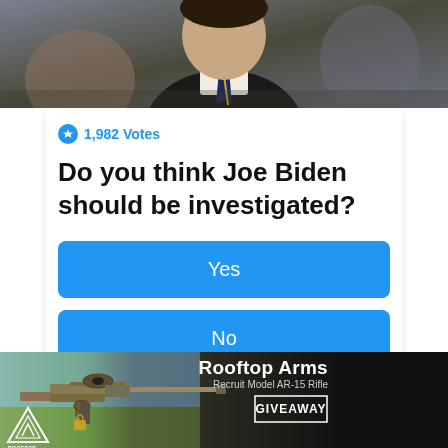[Figure (photo): Photo of a man in a dark suit with a striped tie, cropped at head/upper body level]
1,982 Votes
Do you think Joe Biden should be investigated?
Yes
No
Not sure
[Figure (infographic): Rooftop Arms advertisement banner featuring an AR-15 rifle (Recruit Model) with GIVEAWAY text and Rooftop Arms logo]